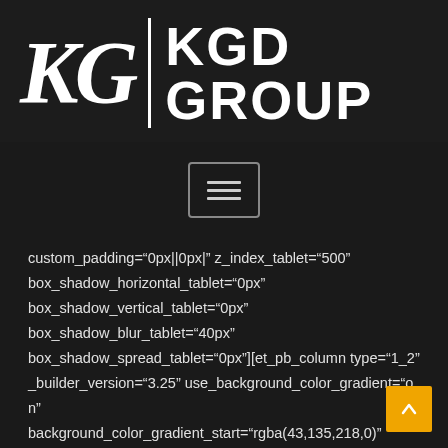[Figure (logo): KGD Group logo: stylized 'KG' letters in italic serif on left, vertical white bar separator, then 'KGD GROUP' in bold sans-serif on right, all white on dark background]
[Figure (other): Hamburger menu button icon (three horizontal lines) inside a rounded rectangle border]
custom_padding="0px||0px|" z_index_tablet="500" box_shadow_horizontal_tablet="0px" box_shadow_vertical_tablet="0px" box_shadow_blur_tablet="40px" box_shadow_spread_tablet="0px"][et_pb_column type="1_2" _builder_version="3.25" use_background_color_gradient="on" background_color_gradient_start="rgba(43,135,218,0)" background_color_gradient_end="#b2b3ae" background_color_gradient_direction="105deg"